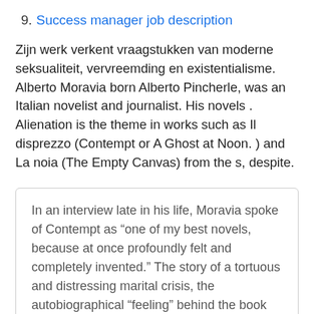9. Success manager job description
Zijn werk verkent vraagstukken van moderne seksualiteit, vervreemding en existentialisme. Alberto Moravia born Alberto Pincherle, was an Italian novelist and journalist. His novels . Alienation is the theme in works such as Il disprezzo (Contempt or A Ghost at Noon. ) and La noia (The Empty Canvas) from the s, despite.
In an interview late in his life, Moravia spoke of Contempt as “one of my best novels, because at once profoundly felt and completely invented.” The story of a tortuous and distressing marital crisis, the autobiographical “feeling” behind the book no doubt came out of